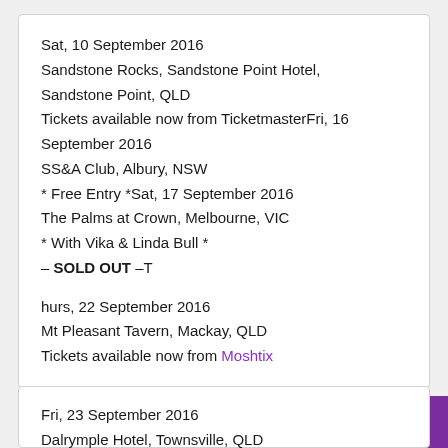Sat, 10 September 2016
Sandstone Rocks, Sandstone Point Hotel,
Sandstone Point, QLD
Tickets available now from TicketmasterFri, 16 September 2016
SS&A Club, Albury, NSW
* Free Entry *Sat, 17 September 2016
The Palms at Crown, Melbourne, VIC
* With Vika & Linda Bull *
– SOLD OUT –T

hurs, 22 September 2016
Mt Pleasant Tavern, Mackay, QLD
Tickets available now from Moshtix
Fri, 23 September 2016
Dalrymple Hotel, Townsville, QLD